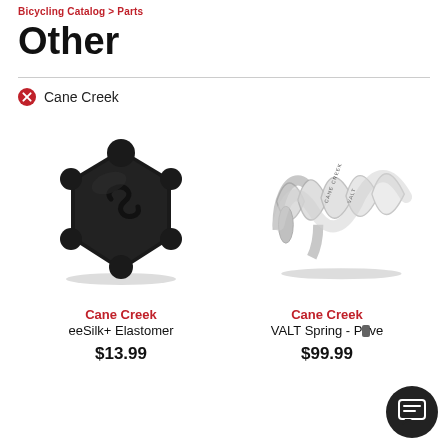Bicycling Catalog > Parts
Other
Cane Creek
[Figure (photo): Black rubber elastomer knob with embossed S logo - Cane Creek eeSilk+ Elastomer part]
Cane Creek
eeSilk+ Elastomer
$13.99
[Figure (photo): Metallic coil spring with CANE CREEK VALT text imprinted - Cane Creek VALT Spring Progressive]
Cane Creek
VALT Spring - Progressive
$99.99